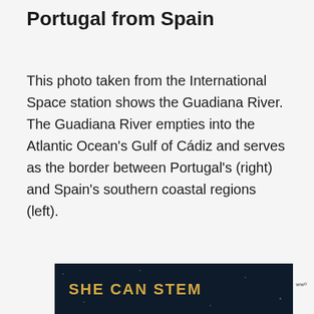Portugal from Spain
This photo taken from the International Space station shows the Guadiana River. The Guadiana River empties into the Atlantic Ocean's Gulf of Cádiz and serves as the border between Portugal's (right) and Spain's southern coastal regions (left).
[Figure (other): Heart/favorite button icon (blue circle with white heart)]
[Figure (other): Share button icon (white circle with share icon and plus)]
[Figure (other): Dark banner at bottom with text SHE CAN STEM in gold letters, and WWP logo to the right]